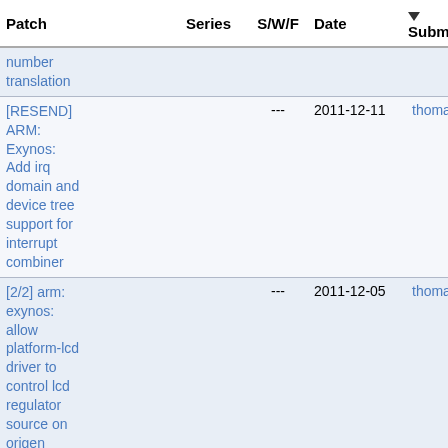| Patch | Series | S/W/F | Date | ▼ Submitter |
| --- | --- | --- | --- | --- |
| number translation |  |  |  |  |
| [RESEND] ARM: Exynos: Add irq domain and device tree support for interrupt combiner |  | --- | 2011-12-11 | thomas.abraham@linaro.org |
| [2/2] arm: exynos: allow platform-lcd driver to control lcd regulator source on origen |  | --- | 2011-12-05 | thomas.abraham@linaro.org |